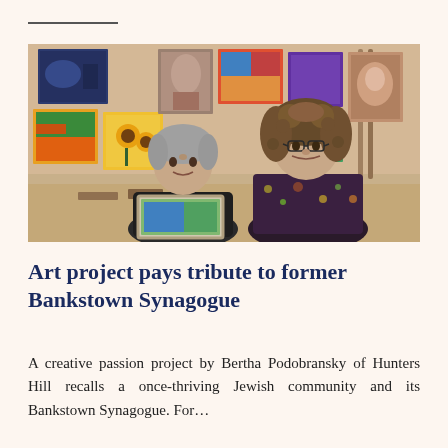[Figure (photo): Two women in a room filled with colourful paintings and canvases on easels. An older woman with grey hair sits in the foreground holding a framed painting; a younger woman with curly hair and glasses stands behind her smiling.]
Art project pays tribute to former Bankstown Synagogue
A creative passion project by Bertha Podobransky of Hunters Hill recalls a once-thriving Jewish community and its Bankstown Synagogue. For…